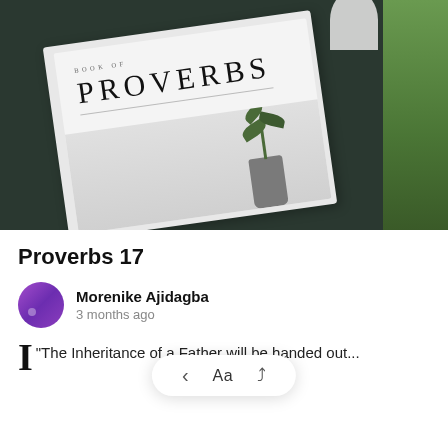[Figure (photo): Photo of a Book of Proverbs magazine/publication laid on a dark green surface, with a small plant in a vase visible, and green striped element and white candle in background]
Proverbs 17
Morenike Ajidagba
3 months ago
"The Inheritance of a Father will be handed out...